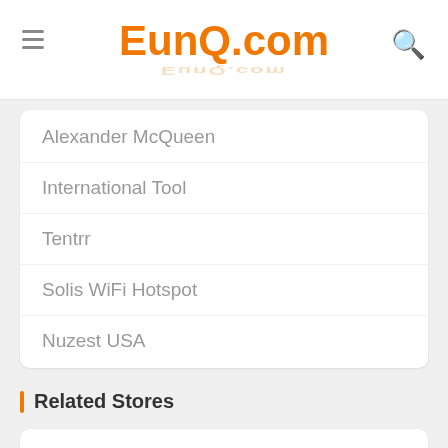EunQ.com
Alexander McQueen
International Tool
Tentrr
Solis WiFi Hotspot
Nuzest USA
Related Stores
Orli Jewellery
Georg Jensen
MIANSAI
JomaShop
Ernest Jones